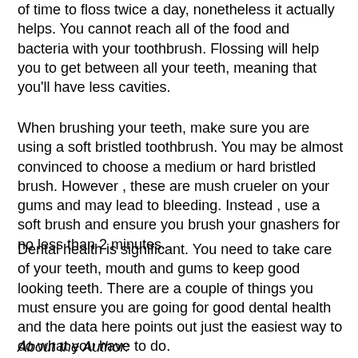of time to floss twice a day, nonetheless it actually helps. You cannot reach all of the food and bacteria with your toothbrush. Flossing will help you to get between all your teeth, meaning that you'll have less cavities.
When brushing your teeth, make sure you are using a soft bristled toothbrush. You may be almost convinced to choose a medium or hard bristled brush. However , these are mush crueler on your gums and may lead to bleeding. Instead , use a soft brush and ensure you brush your gnashers for no less than 2 minutes.
Dental health is significant. You need to take care of your teeth, mouth and gums to keep good looking teeth. There are a couple of things you must ensure you are going for good dental health and the data here points out just the easiest way to do what you have to do.
About the Author: